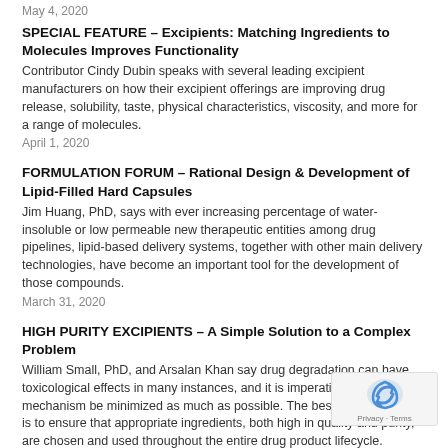May 4, 2020
SPECIAL FEATURE – Excipients: Matching Ingredients to Molecules Improves Functionality
Contributor Cindy Dubin speaks with several leading excipient manufacturers on how their excipient offerings are improving drug release, solubility, taste, physical characteristics, viscosity, and more for a range of molecules.
April 1, 2020
FORMULATION FORUM – Rational Design & Development of Lipid-Filled Hard Capsules
Jim Huang, PhD, says with ever increasing percentage of water-insoluble or low permeable new therapeutic entities among drug pipelines, lipid-based delivery systems, together with other main delivery technologies, have become an important tool for the development of those compounds.
March 31, 2020
HIGH PURITY EXCIPIENTS – A Simple Solution to a Complex Problem
William Small, PhD, and Arsalan Khan say drug degradation can have toxicological effects in many instances, and it is imperative that this mechanism be minimized as much as possible. The best solution to this is to ensure that appropriate ingredients, both high in quality and purity, are chosen and used throughout the entire drug product lifecycle.
March 1, 2020
DEVELOPMENT TIMELINES – Drug Development Times, What it Takes – Part 1
Josef Bossart, PhD, explains how accurately estimating a product's development timelines is more than simply adding up the individual timelines, almost always optimistic. You need to "know" the numbers to calculate them.
January 14, 2020